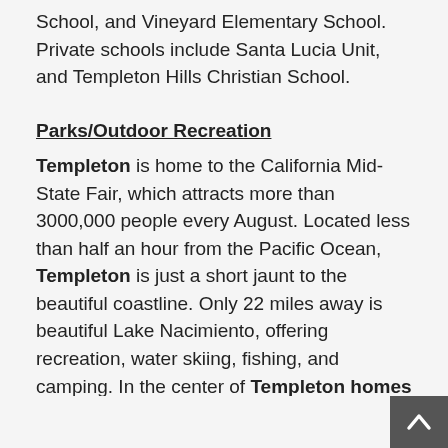School, and Vineyard Elementary School. Private schools include Santa Lucia Unit, and Templeton Hills Christian School.
Parks/Outdoor Recreation
Templeton is home to the California Mid-State Fair, which attracts more than 3000,000 people every August. Located less than half an hour from the Pacific Ocean, Templeton is just a short jaunt to the beautiful coastline. Only 22 miles away is beautiful Lake Nacimiento, offering recreation, water skiing, fishing, and camping. In the center of Templeton homes for sale is a three acre county park that offers a municipal swimming pool. Also nearby is Bethel Park that has a soccer field and a playground area for kids. Evers Sports Park also has plenty of sporting fields.
The Templeton Community Service District offers you and adult sports programs in soccer, basketball, softball,